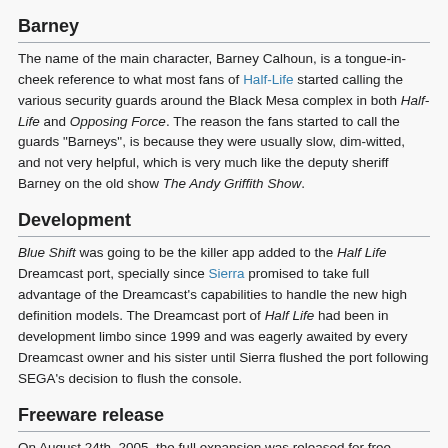nothing technically wrong with this statement, but it leads people to believe that the weapons themselves are upgraded, not just their appearance.
Barney
The name of the main character, Barney Calhoun, is a tongue-in-cheek reference to what most fans of Half-Life started calling the various security guards around the Black Mesa complex in both Half-Life and Opposing Force. The reason the fans started to call the guards "Barneys", is because they were usually slow, dim-witted, and not very helpful, which is very much like the deputy sheriff Barney on the old show The Andy Griffith Show.
Development
Blue Shift was going to be the killer app added to the Half Life Dreamcast port, specially since Sierra promised to take full advantage of the Dreamcast's capabilities to handle the new high definition models. The Dreamcast port of Half Life had been in development limbo since 1999 and was eagerly awaited by every Dreamcast owner and his sister until Sierra flushed the port following SEGA's decision to flush the console.
Freeware release
On August 24th, 2005, the full expansion was released for free through Valve's electronic distribution platform Steam for anyone that owns the Half-Life Premier Pack, the Half-Life 2 Silver package, or the Half-Life 2 Gold package.